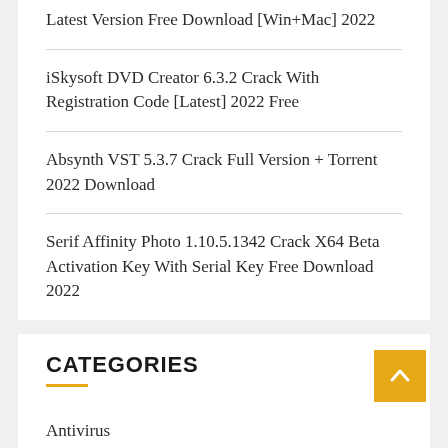Latest Version Free Download [Win+Mac] 2022
iSkysoft DVD Creator 6.3.2 Crack With Registration Code [Latest] 2022 Free
Absynth VST 5.3.7 Crack Full Version + Torrent 2022 Download
Serif Affinity Photo 1.10.5.1342 Crack X64 Beta Activation Key With Serial Key Free Download 2022
CATEGORIES
Antivirus
Auslogics